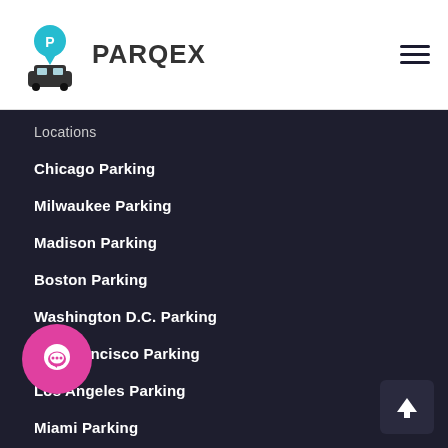[Figure (logo): ParqEx logo with parking pin icon and car icon, text reads PARQEX]
Locations
Chicago Parking
Milwaukee Parking
Madison Parking
Boston Parking
Washington D.C. Parking
San Francisco Parking
Los Angeles Parking
Miami Parking
Philadelphia Parking
[Figure (other): Pink chat bubble button in lower left]
[Figure (other): Dark back-to-top arrow button in lower right]